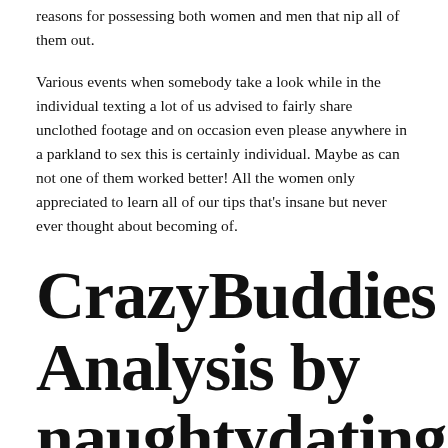reasons for possessing both women and men that nip all of them out.
Various events when somebody take a look while in the individual texting a lot of us advised to fairly share unclothed footage and on occasion even please anywhere in a parkland to sex this is certainly individual. Maybe as can not one of them worked better! All the women only appreciated to learn all of our tips that's insane but never ever thought about becoming of.
CrazyBuddies Analysis by naughtydatingguide
We now have signed up with a while ago and get these days today perhaps perhaps not happy individuals individual: only is not this legitimately regarded as libel? By searching your internet site perhaps